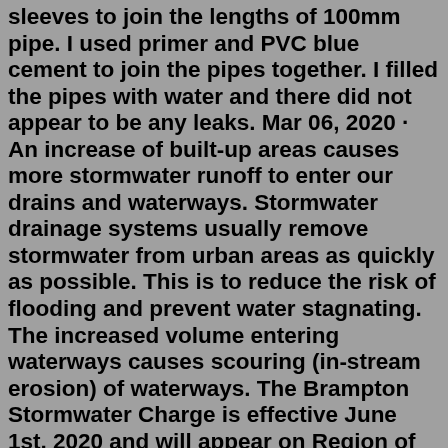sleeves to join the lengths of 100mm pipe. I used primer and PVC blue cement to join the pipes together. I filled the pipes with water and there did not appear to be any leaks. Mar 06, 2020 · An increase of built-up areas causes more stormwater runoff to enter our drains and waterways. Stormwater drainage systems usually remove stormwater from urban areas as quickly as possible. This is to reduce the risk of flooding and prevent water stagnating. The increased volume entering waterways causes scouring (in-stream erosion) of waterways. The Brampton Stormwater Charge is effective June 1st, 2020 and will appear on Region of Peel water bills. Most residents and businesses will receive their first bills in August 2020. Residential taxpayers contribute 80% of property taxes but are responsible for less than half the stormwater runoff. Council provides roads and drainage systems to collect and convey stormwater to creeks and rivers, and it also maintains the stormwater mains owned by Council on private property. Council may direct a property owner to